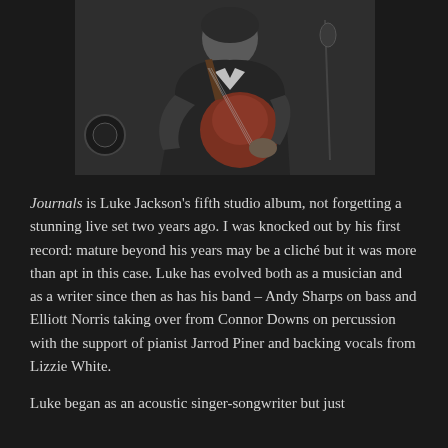[Figure (photo): Black and white photo of a young man playing an electric guitar, leaning over the instrument in what appears to be a recording studio setting.]
Journals is Luke Jackson's fifth studio album, not forgetting a stunning live set two years ago. I was knocked out by his first record: mature beyond his years may be a cliché but it was more than apt in this case. Luke has evolved both as a musician and as a writer since then as has his band – Andy Sharps on bass and Elliott Norris taking over from Connor Downs on percussion with the support of pianist Jarrod Piner and backing vocals from Lizzie White.
Luke began as an acoustic singer-songwriter but just